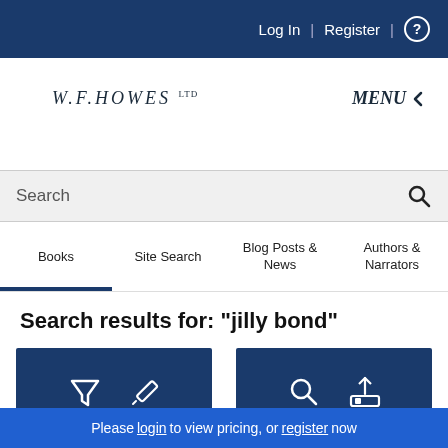Log In | Register | ?
[Figure (logo): W.F.HOWES LTD logo with MENU navigation button]
Search
Books | Site Search | Blog Posts & News | Authors & Narrators
Search results for: "jilly bond"
[Figure (infographic): Two blue button groups: left with filter and edit icons, right with search and upload icons]
Please login to view pricing, or register now